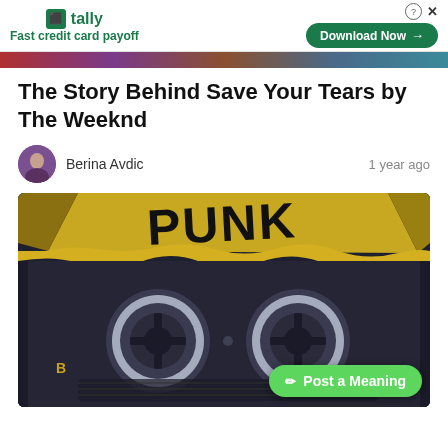[Figure (screenshot): Advertisement banner for Tally app - Fast credit card payoff with Download Now button]
[Figure (photo): Partial hero image strip showing blurred colorful background]
The Story Behind Save Your Tears by The Weeknd
Berina Avdic    1 year ago
[Figure (photo): Close-up photo of a cassette tape with 'PUNK' written in graffiti on a yellow label. The cassette is dark/translucent showing two reels. Side B label visible.]
Post a Meaning